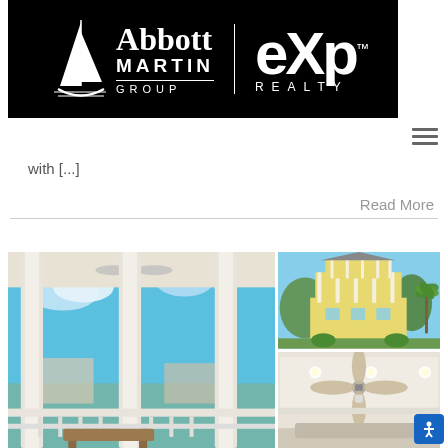[Figure (logo): Abbott Martin Group | eXp Realty logo on black background]
with [...]
Read More
[Figure (photo): Three real estate property photos in a grid: left large image shows a porch/balcony with white columns and blue sky; top right shows a yellow two-story coastal home with palm trees; bottom right shows an interior room with ceiling fan.]